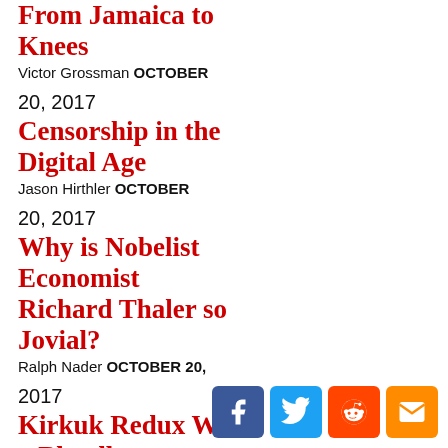From Jamaica to Knees
Victor Grossman OCTOBER
20, 2017
Censorship in the Digital Age
Jason Hirthler OCTOBER
20, 2017
Why is Nobelist Economist Richard Thaler so Jovial?
Ralph Nader OCTOBER 20,
2017
Kirkuk Redux Was a Bloodless Offensive, Here’s Why
Pepe Escobar OCTOBER